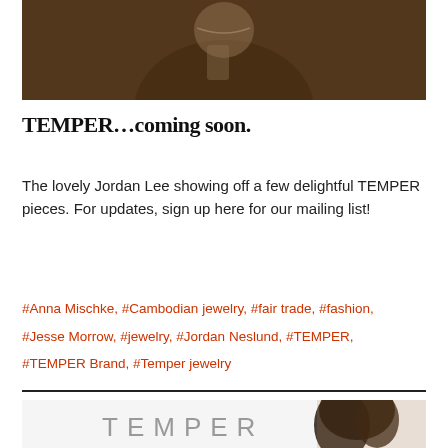[Figure (photo): Cropped photo of a woman wearing jewelry, holding a phone, in a brown jacket against a blurred background]
TEMPER...coming soon.
The lovely Jordan Lee showing off a few delightful TEMPER pieces. For updates, sign up here for our mailing list!
#Anna Mischke, #Cambodian jewelry, #fair trade, #fashion, #Jesse Morrow, #jewelry, #Jordan Neslund, #TEMPER, #TEMPER Brand, #Temper jewelry
[Figure (photo): Bottom photo showing TEMPER logo text and a woman with dark curly hair]